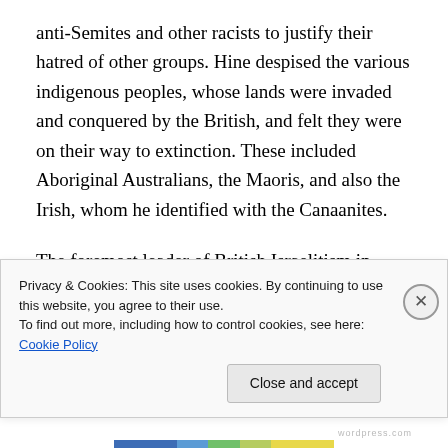anti-Semites and other racists to justify their hatred of other groups. Hine despised the various indigenous peoples, whose lands were invaded and conquered by the British, and felt they were on their way to extinction. These included Aboriginal Australians, the Maoris, and also the Irish, whom he identified with the Canaanites.
The foremost leader of British Israelitism in America was Howard B. Rand, who had been variously a lawyer, inventor and small businessman in Haverhill, Massachusetts. In 1928 he founded the Anglo-Saxon
Privacy & Cookies: This site uses cookies. By continuing to use this website, you agree to their use.
To find out more, including how to control cookies, see here: Cookie Policy